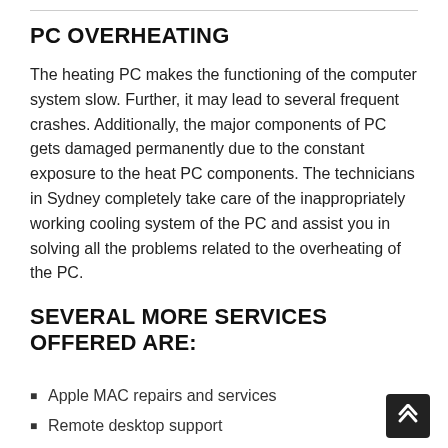PC OVERHEATING
The heating PC makes the functioning of the computer system slow. Further, it may lead to several frequent crashes. Additionally, the major components of PC gets damaged permanently due to the constant exposure to the heat PC components. The technicians in Sydney completely take care of the inappropriately working cooling system of the PC and assist you in solving all the problems related to the overheating of the PC.
SEVERAL MORE SERVICES OFFERED ARE:
Apple MAC repairs and services
Remote desktop support